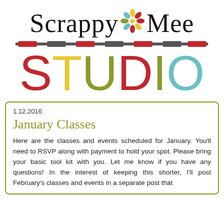[Figure (logo): Scrappy Mee Studio logo: 'Scrappy Mee' in serif font with a decorative flower/snowflake icon between the words, followed by a dashed divider bar, and 'STUDIO' in large colorful letters (S=red, T=yellow, U=olive, D=red, I=olive, O=teal)]
1.12.2016
January Classes
Here are the classes and events scheduled for January. You'll need to RSVP along with payment to hold your spot. Please bring your basic tool kit with you. Let me know if you have any questions! In the interest of keeping this shorter, I'll post February's classes and events in a separate post that